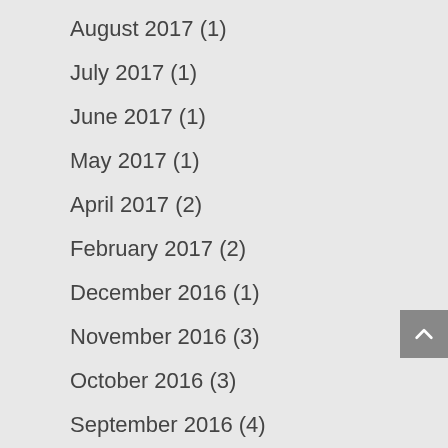August 2017 (1)
July 2017 (1)
June 2017 (1)
May 2017 (1)
April 2017 (2)
February 2017 (2)
December 2016 (1)
November 2016 (3)
October 2016 (3)
September 2016 (4)
August 2016 (4)
July 2016 (2)